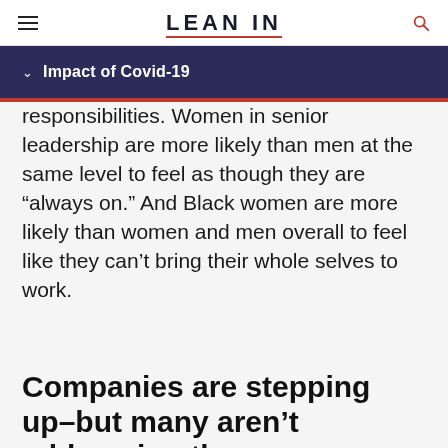LEAN IN
Impact of Covid-19
responsibilities. Women in senior leadership are more likely than men at the same level to feel as though they are “always on.” And Black women are more likely than women and men overall to feel like they can’t bring their whole selves to work.
Companies are stepping up–but many aren’t addressing the